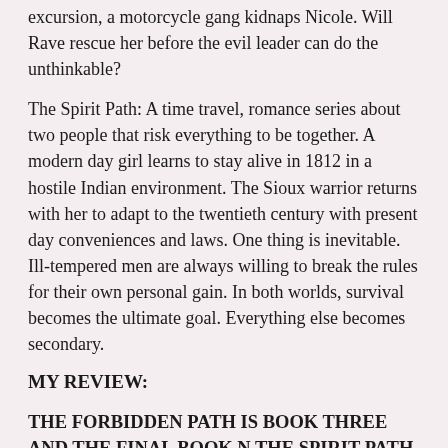excursion, a motorcycle gang kidnaps Nicole. Will Rave rescue her before the evil leader can do the unthinkable?
The Spirit Path: A time travel, romance series about two people that risk everything to be together. A modern day girl learns to stay alive in 1812 in a hostile Indian environment. The Sioux warrior returns with her to adapt to the twentieth century with present day conveniences and laws. One thing is inevitable. Ill-tempered men are always willing to break the rules for their own personal gain. In both worlds, survival becomes the ultimate goal. Everything else becomes secondary.
MY REVIEW:
THE FORBIDDEN PATH IS BOOK THREE AND THE FINAL BOOK N THE SPIRIT PATH SERIES.  I AM SORRY TO SEE THE SERIES END.  THE BOOK TAKES PLACE RIGHT WHERE BOOK TWO LEFT OFF.  RAVE IS TRAPPED IN NICOLE'S TIME AND IS LEARNING HER WAYS.  RAVE HAS ADJUSTED REAL WELL AND EACH DAY HIM AND NICOLE ARE TOGETHER.  THEY FALL MORE DEEPLY IN LOVE.  RAVE AND NICOLE GO ON A LIFETIME ENJOY FROM WITH THEIR FRIENDS AND